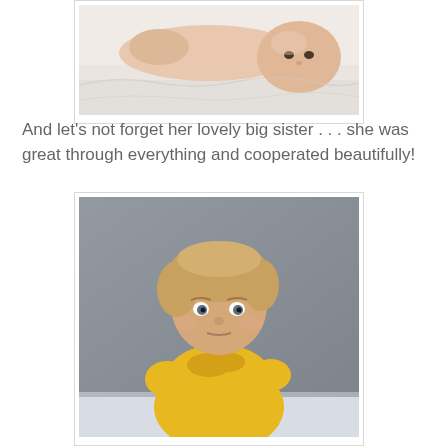[Figure (photo): Newborn baby lying on white blanket, looking at camera]
And let's not forget her lovely big sister . . . she was great through everything and cooperated beautifully!
[Figure (photo): Young toddler girl with blonde hair wearing a yellow top, sitting against a gray background, looking at camera]